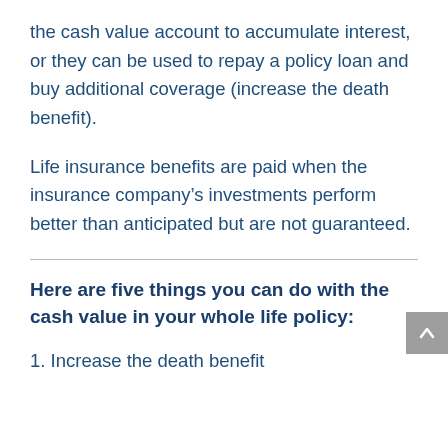the cash value account to accumulate interest, or they can be used to repay a policy loan and buy additional coverage (increase the death benefit).
Life insurance benefits are paid when the insurance company's investments perform better than anticipated but are not guaranteed.
Here are five things you can do with the cash value in your whole life policy:
1. Increase the death benefit